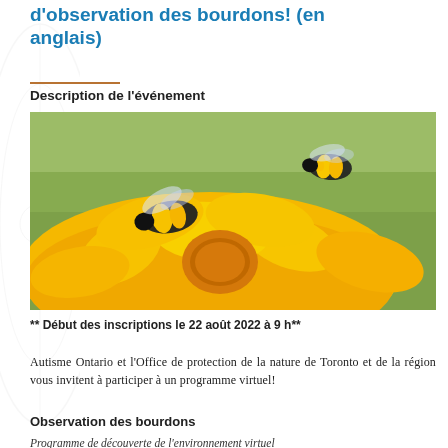d'observation des bourdons! (en anglais)
Description de l'événement
[Figure (photo): Close-up photo of two bumblebees on a bright yellow flower (marigold), with green blurred background.]
** Début des inscriptions le 22 août 2022 à 9 h**
Autisme Ontario et l'Office de protection de la nature de Toronto et de la région vous invitent à participer à un programme virtuel!
Observation des bourdons
Programme de découverte de l'environnement virtuel